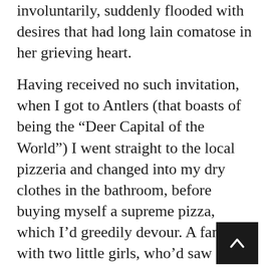involuntarily, suddenly flooded with desires that had long lain comatose in her grieving heart.
Having received no such invitation, when I got to Antlers (that boasts of being the “Deer Capital of the World”) I went straight to the local pizzeria and changed into my dry clothes in the bathroom, before buying myself a supreme pizza, which I’d greedily devour. A family with two little girls, who’d saw me come in, curious about what I was doing in Antlers, came over and asked. I told them tales of charging moose, stampeding cows, and crazy Nebraskan cops. The girls posed for pictures with me, saying they were going to talk about my trip